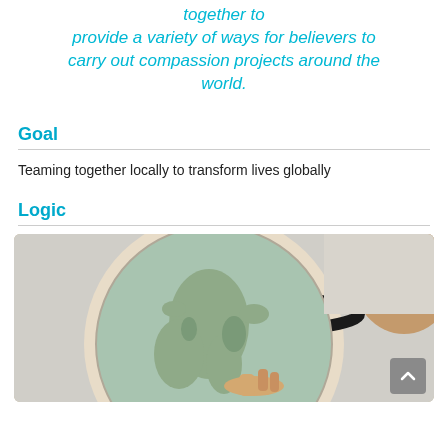together to provide a variety of ways for believers to carry out compassion projects around the world.
Goal
Teaming together locally to transform lives globally
Logic
[Figure (photo): A person's hand pointing at a globe, with the globe showing Europe and Africa. A person's head is partially visible on the right side.]